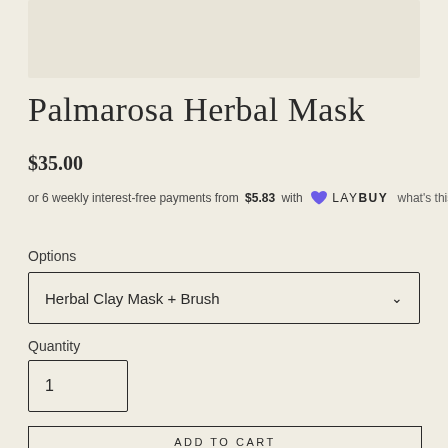[Figure (photo): Product image placeholder area with light beige/cream background]
Palmarosa Herbal Mask
$35.00
or 6 weekly interest-free payments from $5.83 with LAYBUY what's this?
Options
Herbal Clay Mask + Brush
Quantity
1
ADD TO CART